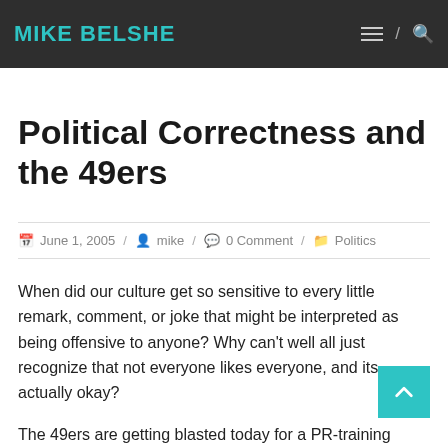MIKE BELSHE
Political Correctness and the 49ers
June 1, 2005 / mike / 0 Comment / Politics
When did our culture get so sensitive to every little remark, comment, or joke that might be interpreted as being offensive to anyone? Why can't well all just recognize that not everyone likes everyone, and its actually okay?
The 49ers are getting blasted today for a PR-training video that